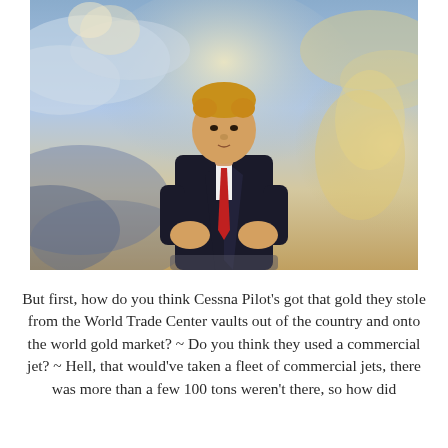[Figure (photo): A digitally manipulated image showing a man in a dark suit with a red tie, seated and posed with arms crossed, superimposed over a heavenly background with clouds, golden light, and angelic figures.]
But first, how do you think Cessna Pilot's got that gold they stole from the World Trade Center vaults out of the country and onto the world gold market? ~ Do you think they used a commercial jet? ~ Hell, that would've taken a fleet of commercial jets, there was more than a few 100 tons weren't there, so how did